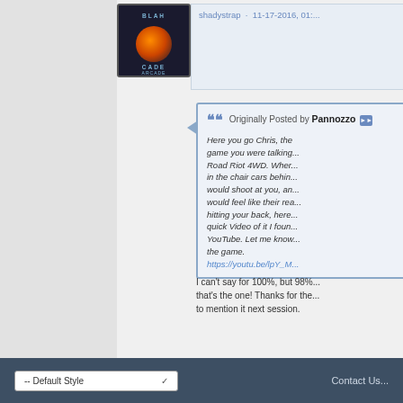[Figure (photo): Forum user avatar showing a dark circular logo with orange/brown gradient sphere, text reading BLAH CADE on dark background]
shadystrap · 11-17-2016, 01:...
Originally Posted by Pannozzo
Here you go Chris, the game you were talking... Road Riot 4WD. Wher... in the chair cars behin... would shoot at you, an... would feel like their rea... hitting your back, here... quick Video of it I foun... YouTube. Let me know... the game.
https://youtu.be/lpY_M...
I can't say for 100%, but 98%... that's the one! Thanks for the... to mention it next session.
-- Default Style    Contact Us